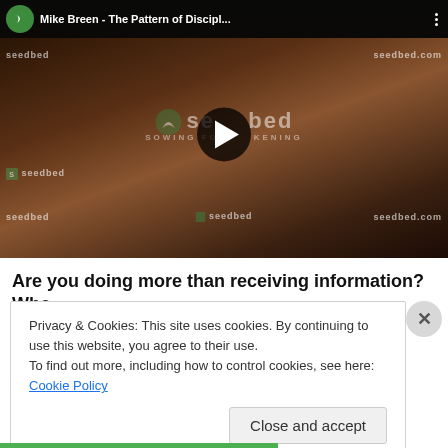[Figure (screenshot): Embedded YouTube video thumbnail showing Mike Breen speaking at a Seedbed event. The video title bar reads 'Mike Breen - The Pattern of Discipl...' with the Seedbed logo. A play button is centered over the video. The background shows the Seedbed branded backdrop with 'seedbed', 'seedbed.com', and 'SOWING FOR AWAKENING' text.]
Are you doing more than receiving information? Who
Privacy & Cookies: This site uses cookies. By continuing to use this website, you agree to their use.
To find out more, including how to control cookies, see here: Cookie Policy
Close and accept